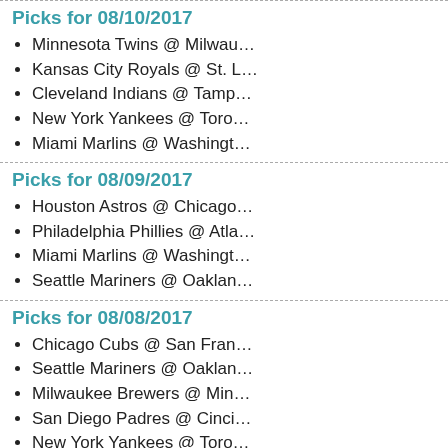Picks for 08/10/2017
Minnesota Twins @ Milwau…
Kansas City Royals @ St. L…
Cleveland Indians @ Tamp…
New York Yankees @ Toro…
Miami Marlins @ Washingt…
Picks for 08/09/2017
Houston Astros @ Chicago…
Philadelphia Phillies @ Atla…
Miami Marlins @ Washingt…
Seattle Mariners @ Oaklan…
Picks for 08/08/2017
Chicago Cubs @ San Fran…
Seattle Mariners @ Oaklan…
Milwaukee Brewers @ Min…
San Diego Padres @ Cinci…
New York Yankees @ Toro…
Picks for 08/07/2017
St. Louis Cardinals @ Kans…
Milwaukee Brewers @ Min…
Picks for 08/06/2017
Arizona Diamondbacks @…